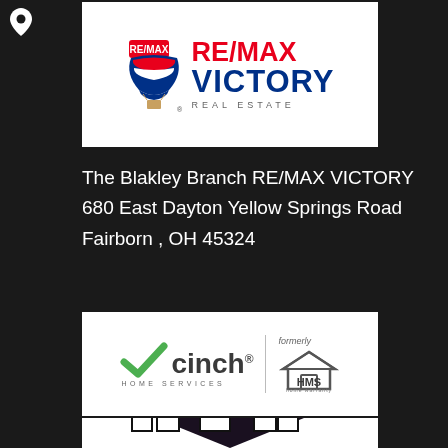[Figure (logo): RE/MAX VICTORY REAL ESTATE logo with balloon icon]
The Blakley Branch RE/MAX VICTORY
680 East Dayton Yellow Springs Road
Fairborn , OH 45324
[Figure (logo): Cinch Home Services logo, formerly HMS Home Warranty]
[Figure (illustration): City skyline illustration with buildings in black and white on dark background]